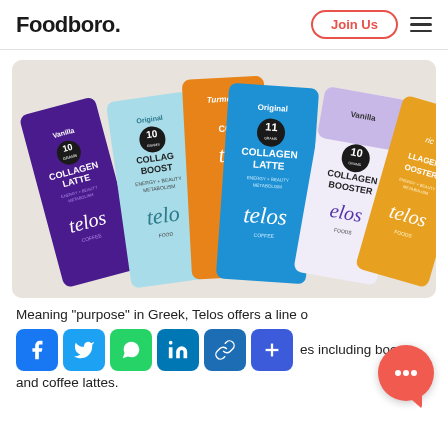Foodboro.
[Figure (photo): Five Telos Foods product packets fanned out on a light background. Products include Vanilla Collagen Latte (purple), Original Collagen Booster (light blue), Turmeric Collagen (orange), Original Collagen Latte (blue), Vanilla Collagen Booster (white/lavender), and Turmeric Collagen Booster (orange/gold). Each packet features the 'telos' brand name in script and shows a circle with either 10 or 11 grams of protein noted.]
Meaning "purpose" in Greek, Telos offers a line of products including boosters and coffee lattes.